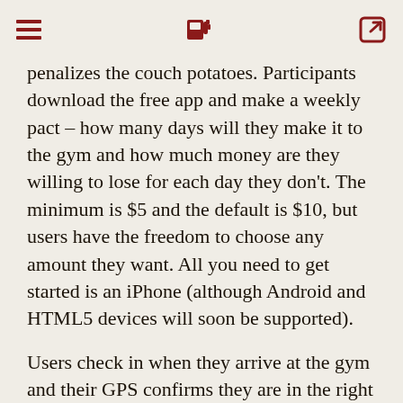[hamburger menu] [fuel pump icon] [share icon]
penalizes the couch potatoes. Participants download the free app and make a weekly pact – how many days will they make it to the gym and how much money are they willing to lose for each day they don't. The minimum is $5 and the default is $10, but users have the freedom to choose any amount they want. All you need to get started is an iPhone (although Android and HTML5 devices will soon be supported).
Users check in when they arrive at the gym and their GPS confirms they are in the right spot, where they must stay for at least 30 minutes or they will not be credited with a workout. At the end of each week, GymPact charges the non-achievers at their agreed...